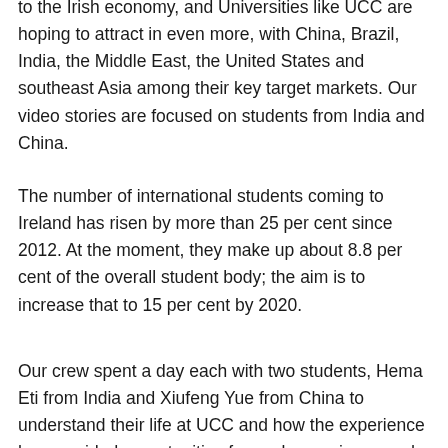to the Irish economy, and Universities like UCC are hoping to attract in even more, with China, Brazil, India, the Middle East, the United States and southeast Asia among their key target markets. Our video stories are focused on students from India and China.
The number of international students coming to Ireland has risen by more than 25 per cent since 2012. At the moment, they make up about 8.8 per cent of the overall student body; the aim is to increase that to 15 per cent by 2020.
Our crew spent a day each with two students, Hema Eti from India and Xiufeng Yue from China to understand their life at UCC and how the experience has provided opportunities for work experience and to build their professional networks.